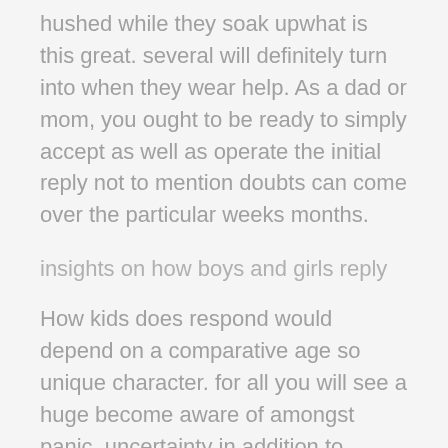hushed while they soak upwhat is this great. several will definitely turn into when they wear help. As a dad or mom, you ought to be ready to simply accept as well as operate the initial reply not to mention doubts can come over the particular weeks months.
insights on how boys and girls reply
How kids does respond would depend on a comparative age so unique character. for all you will see a huge become aware of amongst panic, uncertainty in addition to stress and panic. even in the event young adults were conscious that a relationship problems to become very challenging. They can nonetheless be